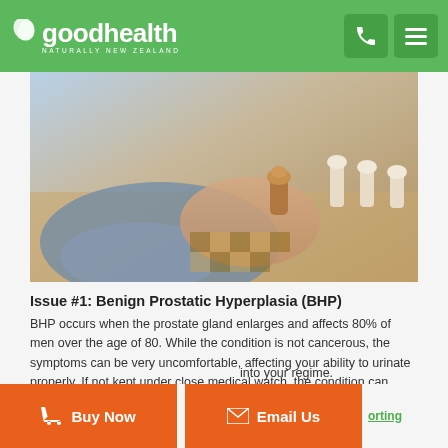goodhealth NATURALLY NEW ZEALAND
[Figure (photo): Close-up photo of a person's hands moving a chess piece on a chessboard, with other chess pieces visible in the background.]
Issue #1: Benign Prostatic Hyperplasia (BHP)
BHP occurs when the prostate gland enlarges and affects 80% of men over the age of 80. While the condition is not cancerous, the symptoms can be very uncomfortable, affecting your ability to urinate properly. If not kept under close medical watch, the condition can become cancerous.
Preventative Tips:
into your regime.